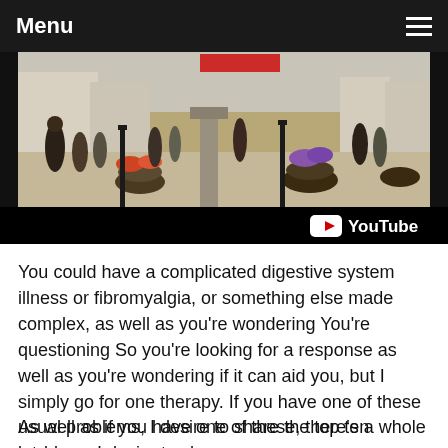Menu
[Figure (screenshot): YouTube video thumbnail showing a busy outdoor town square/pedestrian area with people walking around, flower planters, lamp posts, and buildings. YouTube logo visible in bottom right of video player.]
You could have a complicated digestive system illness or fibromyalgia, or something else made complex, as well as you're wondering You're questioning So you're looking for a response as well as you're wondering if it can aid you, but I simply go for one therapy. If you have one of these usual problems, I desire to share the top ten problems I desire to share.
As well as if you have one of these, there's a whole lot